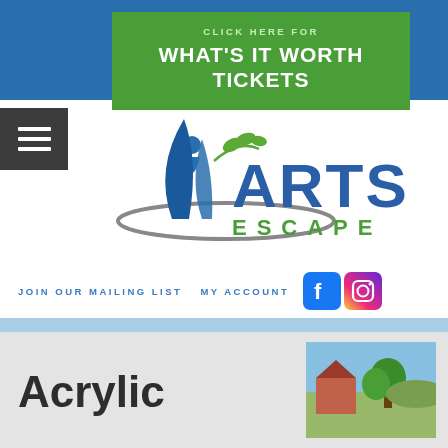[Figure (screenshot): Green CTA banner with text CLICK HERE FOR WHAT'S IT WORTH TICKETS on blue header background]
[Figure (logo): Arts Escape logo with blue swooping figures and green leaf, text ARTS ESCAPE]
JOIN OUR MAILING LIST   MY ACCOUNT
[Figure (screenshot): Facebook and Instagram social media icons]
Acrylic
[Figure (photo): Thumbnail photo showing outdoor scene with tree and buildings]